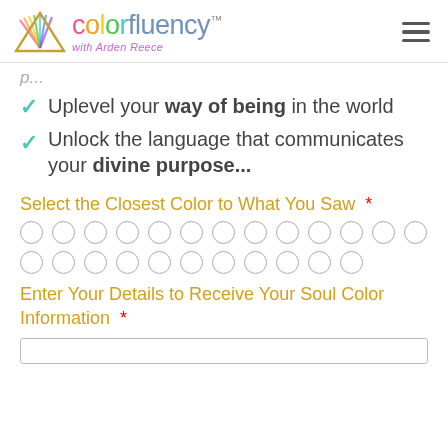colorfluency™ with Arden Reece
Uplevel your way of being in the world
Unlock the language that communicates your divine purpose...
Select the Closest Color to What You Saw *
[Figure (other): Grid of radio button circles for color selection, 15 in first row and 9 in second row]
Enter Your Details to Receive Your Soul Color Information *
[Figure (other): Empty text input field]